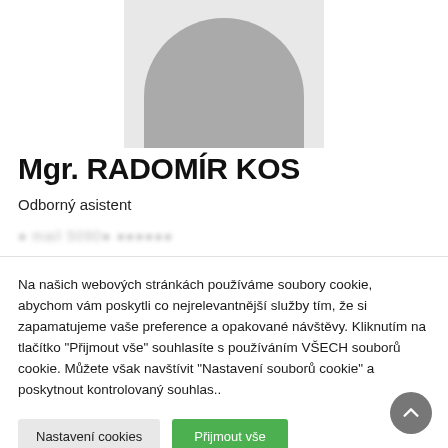[Figure (illustration): Generic user profile avatar placeholder — grey semicircle on light grey background representing anonymous person silhouette]
Mgr. RADOMÍR KOS
Odborný asistent
Na našich webových stránkách používáme soubory cookie, abychom vám poskytli co nejrelevantnější služby tím, že si zapamatujeme vaše preference a opakované návštěvy. Kliknutím na tlačítko "Přijmout vše" souhlasíte s používáním VŠECH souborů cookie. Můžete však navštívit "Nastavení souborů cookie" a poskytnout kontrolovaný souhlas..